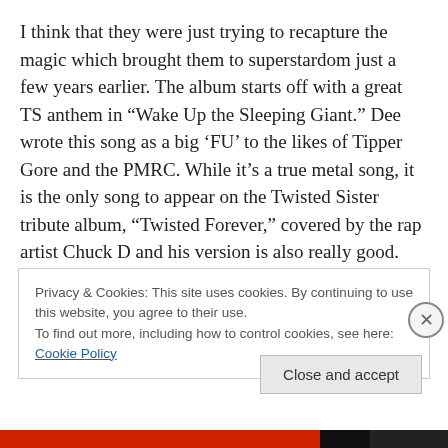I think that they were just trying to recapture the magic which brought them to superstardom just a few years earlier. The album starts off with a great TS anthem in “Wake Up the Sleeping Giant.” Dee wrote this song as a big ‘FU’ to the likes of Tipper Gore and the PMRC. While it’s a true metal song, it is the only song to appear on the Twisted Sister tribute album, “Twisted Forever,” covered by the rap artist Chuck D and his version is also really good.

“Hot Love,” while lyrically, it is a song about lusting after
Privacy & Cookies: This site uses cookies. By continuing to use this website, you agree to their use.
To find out more, including how to control cookies, see here: Cookie Policy
Close and accept